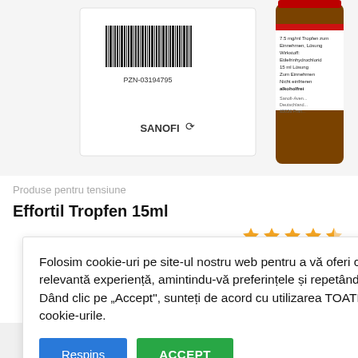[Figure (photo): Sanofi Effortil Tropfen 15ml product box and bottle. Box shows barcode, PZN-03194795, SANOFI logo. Bottle is dark amber glass with red/white label showing '7.5 mg/ml Tropfen zum Einnehmen, Lösung, Wirkstoff: Etilefrinhydrochlorid 15 ml Lösung, Zum Einnehmen, Nicht einfrieren, alkoholfrei, Sanofi-Aventis Deutschland GmbH, 65026 Fran...']
Produse pentru tensiune
Effortil Tropfen 15ml
Folosim cookie-uri pe site-ul nostru web pentru a vă oferi cea mai relevantă experiență, amintindu-vă preferințele și repetând vizitele. Dând clic pe „Accept", sunteți de acord cu utilizarea TOATE cookie-urile.
Respins
ACCEPT
Citește mai mult
[Figure (photo): Partial bottom strip showing another Effortil product package at the bottom of the page.]